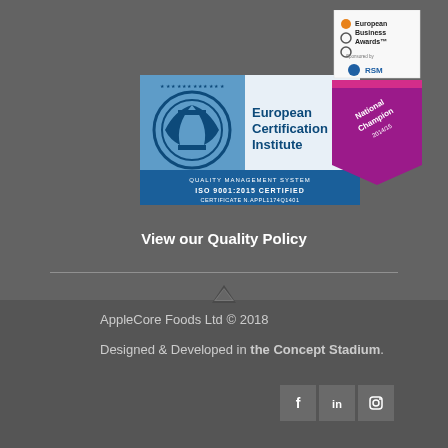[Figure (logo): European Certification Institute – Quality Management System ISO 9001:2015 Certified – Certificate N.APPL1174Q1401 logo badge]
[Figure (logo): European Business Awards – National Champion 2014/15 ribbon badge sponsored by RSM]
View our Quality Policy
AppleCore Foods Ltd © 2018
Designed & Developed in the Concept Stadium.
[Figure (other): Social media icons: Facebook, LinkedIn, Instagram]